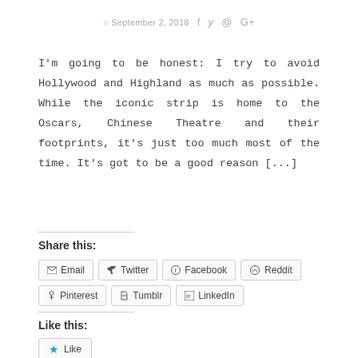September 2, 2018
I'm going to be honest: I try to avoid Hollywood and Highland as much as possible. While the iconic strip is home to the Oscars, Chinese Theatre and their footprints, it's just too much most of the time. It's got to be a good reason [...]
Share this:
Email  Twitter  Facebook  Reddit  Pinterest  Tumblr  LinkedIn
Like this:
Like
Be the first to like this.